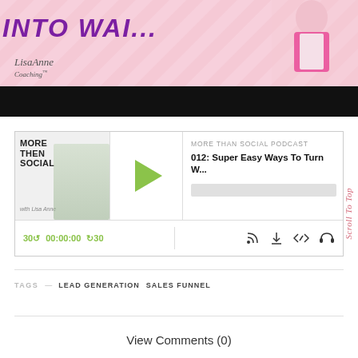[Figure (illustration): LisaAnne Coaching banner with pink diagonal stripes, purple bold italic text 'INTO WAI...' at top, and a person in pink jacket. LisaAnne Coaching logo in bottom left.]
[Figure (screenshot): Audio podcast player widget for 'More Than Social Podcast' episode '012: Super Easy Ways To Turn W...' with play button, time controls showing 30 rewind, 00:00:00, forward 30, and icons for RSS, download, embed, and headphones.]
TAGS — LEAD GENERATION   SALES FUNNEL
View Comments (0)